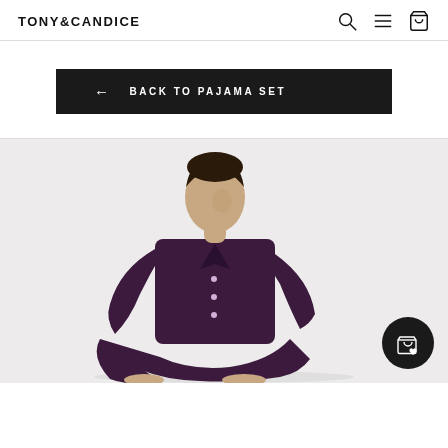TONY&CANDICE
BACK TO PAJAMA SET
[Figure (photo): Young man seated on a white surface wearing a deep purple/plum satin silk pajama set (long-sleeve button-up shirt and matching pants), photographed against a white background. A dark circular quick-add shopping cart button is visible in the bottom right corner of the image.]